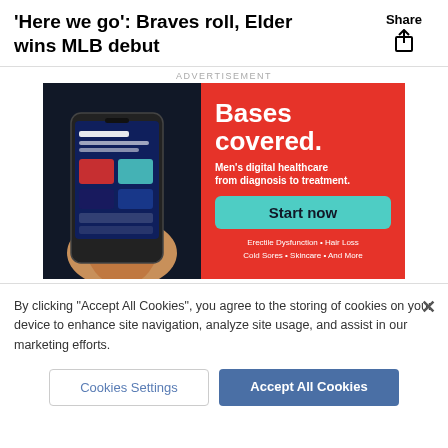'Here we go': Braves roll, Elder wins MLB debut
ADVERTISEMENT
[Figure (screenshot): Advertisement for men's digital healthcare app showing a hand holding a smartphone with a health app interface on the left, and red background on the right with text 'Bases covered. Men's digital healthcare from diagnosis to treatment.' and a teal 'Start now' button, listing services: Erectile Dysfunction • Hair Loss • Cold Sores • Skincare • And More]
By clicking "Accept All Cookies", you agree to the storing of cookies on your device to enhance site navigation, analyze site usage, and assist in our marketing efforts.
Cookies Settings
Accept All Cookies